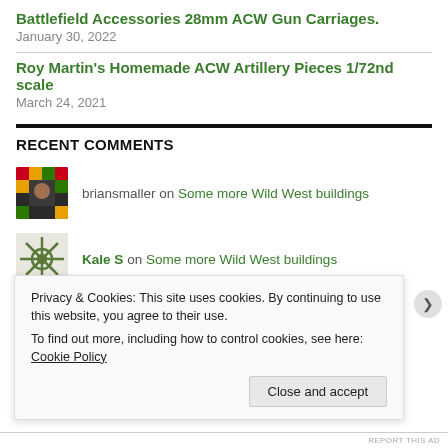Battlefield Accessories 28mm ACW Gun Carriages.
January 30, 2022
Roy Martin's Homemade ACW Artillery Pieces 1/72nd scale
March 24, 2021
RECENT COMMENTS
briansmaller on Some more Wild West buildings
Kale S on Some more Wild West buildings
briansmaller on Beasts and Barbarians Roleplay...
Privacy & Cookies: This site uses cookies. By continuing to use this website, you agree to their use. To find out more, including how to control cookies, see here: Cookie Policy